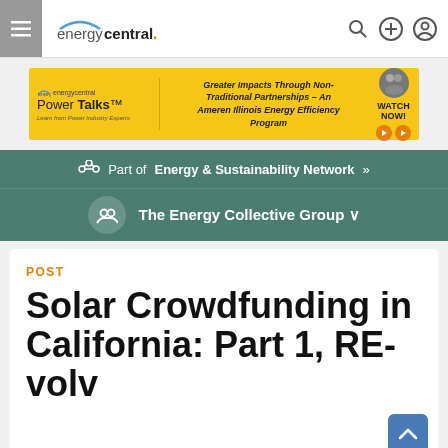energycentral. navigation bar with search and account icons
[Figure (infographic): Energy Central Power Talks advertisement banner in yellow/gold color promoting 'Greater Impacts Through Non-Traditional Partnerships - An Ameren Illinois Energy Efficiency Program' with WATCH NOW button]
Part of Energy & Sustainability Network »
The Energy Collective Group ∨
POST
Solar Crowdfunding in California: Part 1, RE-volv